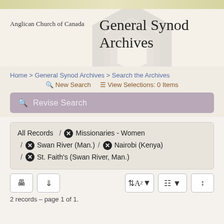Anglican Church of Canada — General Synod Archives
Home > General Synod Archives > Search the Archives
New Search   View Selections: 0 Items
Revise Search
All Records / ✕ Missionaries - Women / ✕ Swan River (Man.) / ✕ Nairobi (Kenya) / ✕ St. Faith's (Swan River, Man.)
2 records – page 1 of 1.